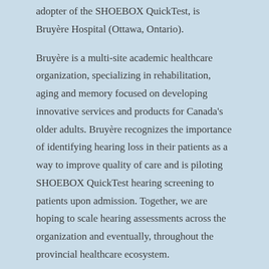adopter of the SHOEBOX QuickTest, is Bruyère Hospital (Ottawa, Ontario).
Bruyère is a multi-site academic healthcare organization, specializing in rehabilitation, aging and memory focused on developing innovative services and products for Canada's older adults. Bruyère recognizes the importance of identifying hearing loss in their patients as a way to improve quality of care and is piloting SHOEBOX QuickTest hearing screening to patients upon admission. Together, we are hoping to scale hearing assessments across the organization and eventually, throughout the provincial healthcare ecosystem.